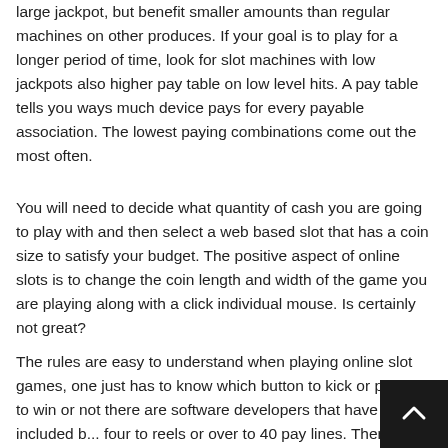large jackpot, but benefit smaller amounts than regular machines on other produces. If your goal is to play for a longer period of time, look for slot machines with low jackpots also higher pay table on low level hits. A pay table tells you ways much device pays for every payable association. The lowest paying combinations come out the most often.
You will need to decide what quantity of cash you are going to play with and then select a web based slot that has a coin size to satisfy your budget. The positive aspect of online slots is to change the coin length and width of the game you are playing along with a click individual mouse. Is certainly not great?
The rules are easy to understand when playing online slot games, one just has to know which button to kick or punch to win or not there are software developers that have included b... four to reels or over to 40 pay lines. There are even bonus games; these make the game a great deal more challenging...